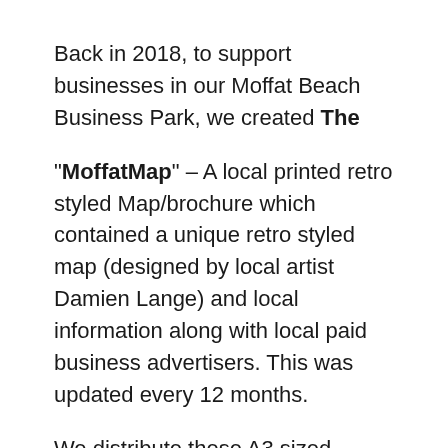Back in 2018, to support businesses in our Moffat Beach Business Park, we created The "MoffatMap" – A local printed retro styled Map/brochure which contained a unique retro styled map (designed by local artist Damien Lange) and local information along with local paid business advertisers. This was updated every 12 months.

We distribute these A3 sized map/brochures in the Dicky Beach, Moffat Beach and Shelly Beach suburbs and supplied these FREE to Cafes and